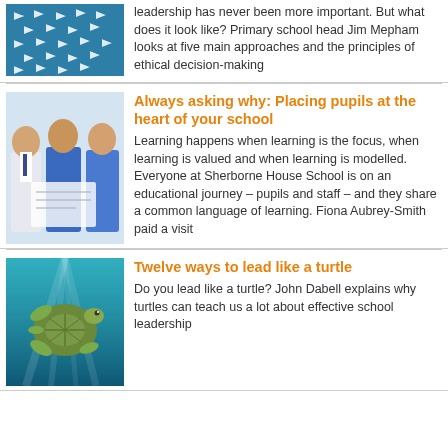[Figure (photo): Paper airplanes on teal/blue background]
leadership has never been more important. But what does it look like? Primary school head Jim Mepham looks at five main approaches and the principles of ethical decision-making
[Figure (photo): Three school children in uniforms looking at a book together]
Always asking why: Placing pupils at the heart of your school
Learning happens when learning is the focus, when learning is valued and when learning is modelled. Everyone at Sherborne House School is on an educational journey – pupils and staff – and they share a common language of learning. Fiona Aubrey-Smith paid a visit
[Figure (photo): Sea turtle swimming underwater with light rays]
Twelve ways to lead like a turtle
Do you lead like a turtle? John Dabell explains why turtles can teach us a lot about effective school leadership